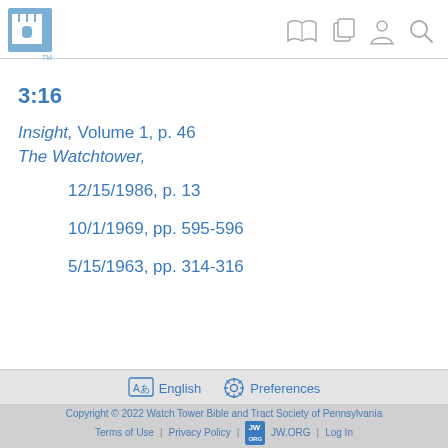3:16 — JW.ORG app header with logo and navigation icons
3:16
Insight, Volume 1, p. 46
The Watchtower,
12/15/1986, p. 13
10/1/1969, pp. 595-596
5/15/1963, pp. 314-316
English  Preferences  |  Copyright © 2022 Watch Tower Bible and Tract Society of Pennsylvania  |  Terms of Use  |  Privacy Policy  |  JW.ORG  |  Log In